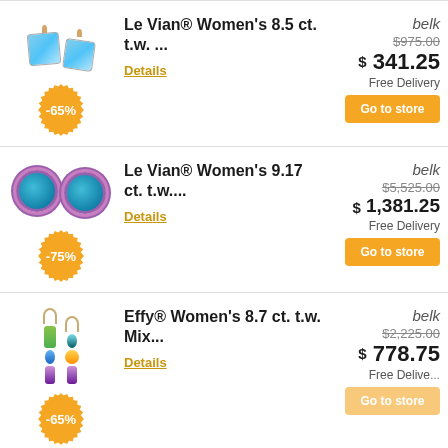[Figure (photo): Blue topaz stud earrings in rose gold setting with -65% badge]
Le Vian® Women's 8.5 ct. t.w. ...
Details
belk
$975.00
$341.25
Free Delivery
Go to store
[Figure (photo): Turquoise halo stud earrings with -75% badge]
Le Vian® Women's 9.17 ct. t.w....
Details
belk
$5,525.00
$1,381.25
Free Delivery
Go to store
[Figure (photo): Effy multicolor gemstone dangle earrings with -65% badge (partially shown)]
Effy® Women's 8.7 ct. t.w. Mix...
Details
belk
$2,225.00
$778.75
Free Delive...